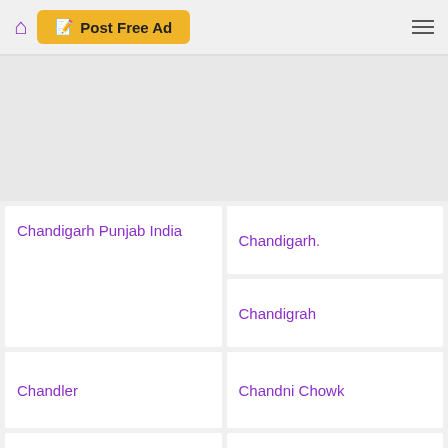Post Free Ad
[Figure (other): Gray advertisement placeholder area]
Chandigarh Punjab India
Chandigarh.
Chandigrah
Chandler
Chandni Chowk
Channai
Chantilly
Charleston
Charlottetown